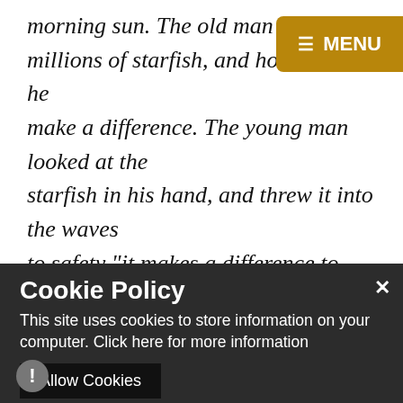morning sun. The old man said that there were millions of starfish, and how could he make a difference. The young man looked at the starfish in his hand, and threw it into the waves to safety “it makes a difference to this one” he said.
[Figure (other): Navigation menu button, gold/dark yellow background, hamburger icon and MENU text in white]
The main message from this story is clear – your child will thrive if we all make sure we focus on
[Figure (other): Cookie Policy popup overlay on dark background with title 'Cookie Policy', body text 'This site uses cookies to store information on your computer. Click here for more information', close X button, Allow Cookies button, and Deny Cookies button]